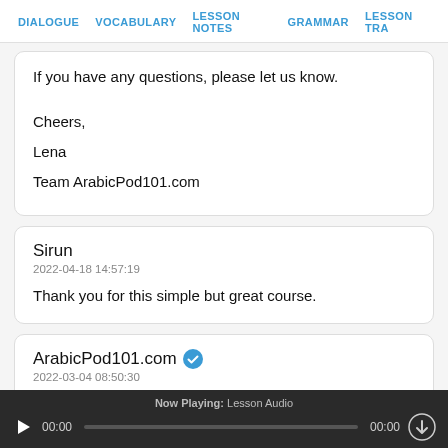DIALOGUE  VOCABULARY  LESSON NOTES  GRAMMAR  LESSON TRA
If you have any questions, please let us know.

Cheers,
Lena
Team ArabicPod101.com
Sirun
2022-04-18 14:57:19
Thank you for this simple but great course.
ArabicPod101.com
2022-03-04 08:50:30
Hi Zaharaddeen,
Now Playing: Lesson Audio
00:00  00:00